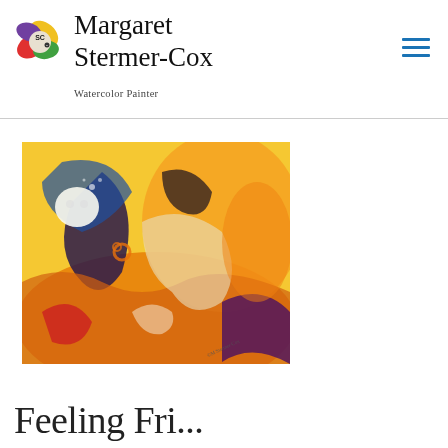Margaret Stermer-Cox — Watercolor Painter
[Figure (logo): Artist logo with overlapping colored teardrop/leaf shapes (red, yellow, green, purple) and 'SC' initials with small cat in center]
Margaret Stermer-Cox
Watercolor Painter
[Figure (illustration): Colorful abstract watercolor painting featuring stylized human and cat figures in swirling orange, yellow, purple, blue, red and white tones, signed M Stermer-Cox]
Feeling Fri...